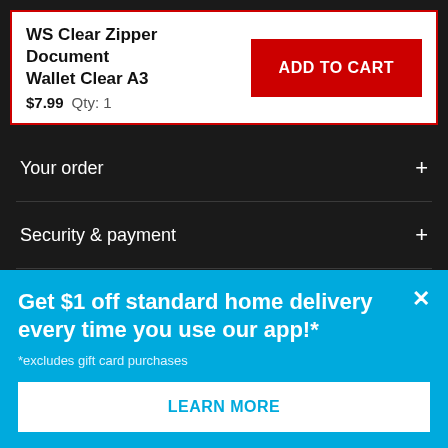WS Clear Zipper Document Wallet Clear A3
$7.99  Qty: 1
ADD TO CART
Your order
Security & payment
Stores
Customer service
Get $1 off standard home delivery every time you use our app!*
*excludes gift card purchases
LEARN MORE